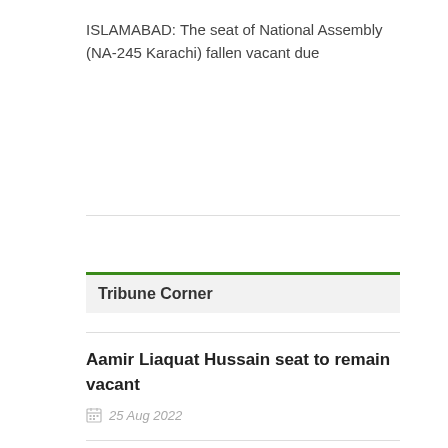ISLAMABAD: The seat of National Assembly (NA-245 Karachi) fallen vacant due
Tribune Corner
Aamir Liaquat Hussain seat to remain vacant
25 Aug 2022